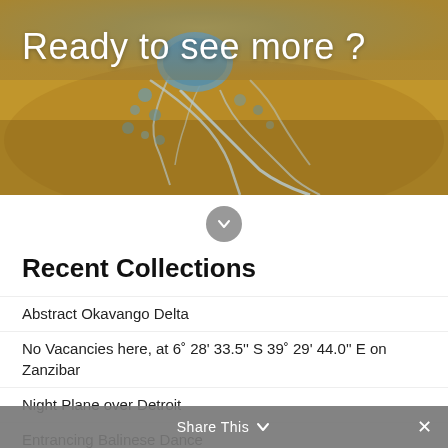[Figure (photo): Aerial photograph of the Okavango Delta showing a circular water formation surrounded by golden-brown vegetation with blue water channels branching outward like veins.]
Ready to see more ?
[Figure (other): A gray circular chevron/down-arrow button icon]
Recent Collections
Abstract Okavango Delta
No Vacancies here, at 6˚ 28' 33.5'' S 39˚ 29' 44.0'' E on Zanzibar
Night Plane over Detroit
Entrancing Balinese Dance
Colors of Boipeba Island & Morro de São Paulo
Share This ∨  ✕